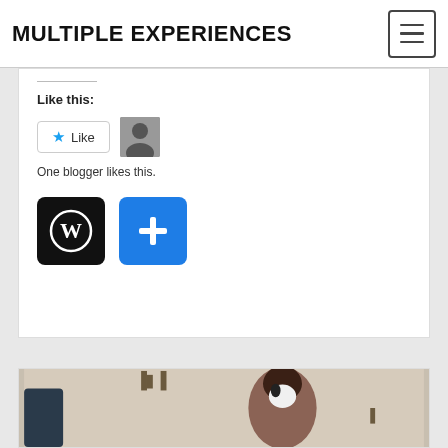MULTIPLE EXPERIENCES
Like this:
One blogger likes this.
[Figure (screenshot): WordPress logo icon (black rounded square with W circle) and blue plus (+) button icon]
[Figure (photo): Woman with dark hair smiling and holding a small black and white puppy, seated near wall sconces and a dark framed item]